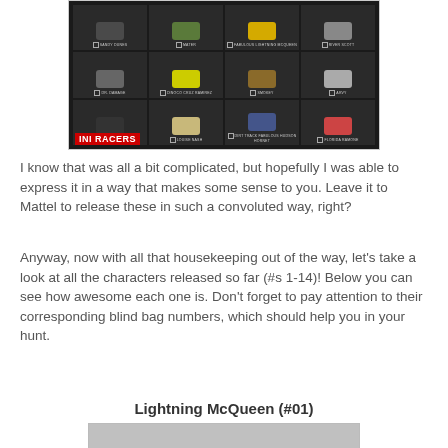[Figure (photo): Mini Racers product packaging showing a grid of Disney Pixar Cars characters including Lightning McQueen, Mater, Fabulous Lightning McQueen, River Scott, Dr. Damage, Dinoco Cruz Ramirez, Smokey, Arvy, Tiny Treadless, Louise Nash, Dirt Track Fabulous Hudson Hornet, Florida Ramone. Dark background with red 'MINI RACERS' label at bottom left.]
I know that was all a bit complicated, but hopefully I was able to express it in a way that makes some sense to you. Leave it to Mattel to release these in such a convoluted way, right?
Anyway, now with all that housekeeping out of the way, let's take a look at all the characters released so far (#s 1-14)! Below you can see how awesome each one is. Don't forget to pay attention to their corresponding blind bag numbers, which should help you in your hunt.
Lightning McQueen (#01)
[Figure (photo): Partial image of Lightning McQueen mini racer toy, cropped at bottom of page]